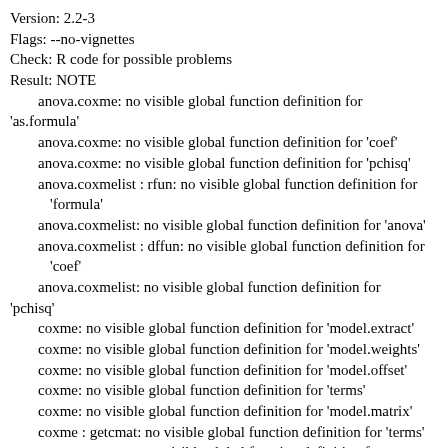Version: 2.2-3
Flags: --no-vignettes
Check: R code for possible problems
Result: NOTE
anova.coxme: no visible global function definition for 'as.formula'
anova.coxme: no visible global function definition for 'coef'
anova.coxme: no visible global function definition for 'pchisq'
anova.coxmelist : rfun: no visible global function definition for 'formula'
anova.coxmelist: no visible global function definition for 'anova'
anova.coxmelist : dffun: no visible global function definition for 'coef'
anova.coxmelist: no visible global function definition for 'pchisq'
coxme: no visible global function definition for 'model.extract'
coxme: no visible global function definition for 'model.weights'
coxme: no visible global function definition for 'model.offset'
coxme: no visible global function definition for 'terms'
coxme: no visible global function definition for 'model.matrix'
coxme : getcmat: no visible global function definition for 'terms'
coxme : getcmat: no visible global function definition for 'model.matrix'
coxme.fit: no visible global function definition for 'rnorm'
coxme.fit: no visible global function definition for 'rchisq'
coxme.fit: no visible global function definition for 'var'